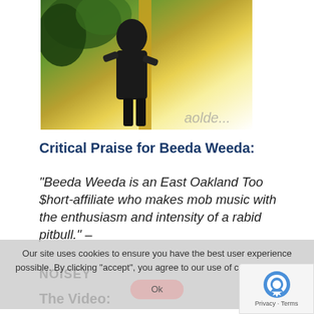[Figure (photo): A colorful photo showing a person in dark clothing against a backdrop of green trees and golden/yellow tones, with partial text visible at bottom right reading 'aolde...']
Critical Praise for Beeda Weeda:
“Beeda Weeda is an East Oakland Too $hort-affiliate who makes mob music with the enthusiasm and intensity of a rabid pitbull.” – NOISEY
The Video: